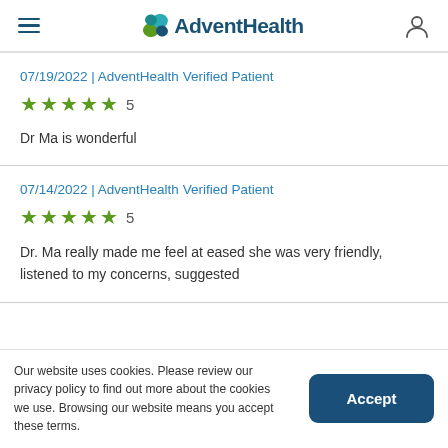AdventHealth
07/19/2022 | AdventHealth Verified Patient
★★★★★ 5
Dr Ma is wonderful
07/14/2022 | AdventHealth Verified Patient
★★★★★ 5
Dr. Ma really made me feel at eased she was very friendly, listened to my concerns, suggested
Our website uses cookies. Please review our privacy policy to find out more about the cookies we use. Browsing our website means you accept these terms.